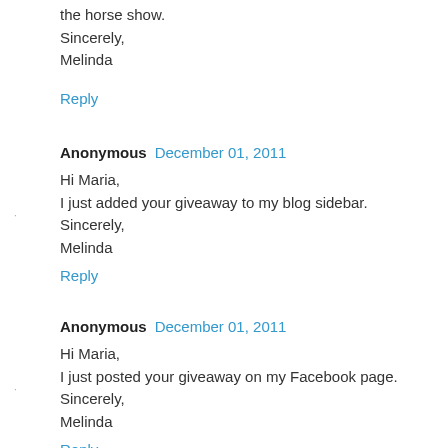the horse show.
Sincerely,
Melinda
Reply
Anonymous  December 01, 2011
Hi Maria,
I just added your giveaway to my blog sidebar.
Sincerely,
Melinda
Reply
Anonymous  December 01, 2011
Hi Maria,
I just posted your giveaway on my Facebook page.
Sincerely,
Melinda
Reply